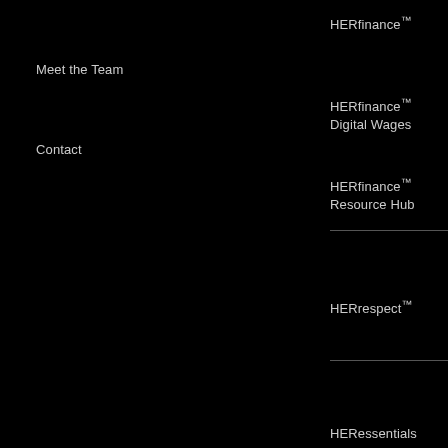HERfinance™
Meet the Team
HERfinance™ Digital Wages
Contact
HERfinance™ Resource Hub
HERrespect™
HERessentials
PARTNERS
Companies
Factories and Farms
Funders
Local Partners
RESOURCES
Curriculum